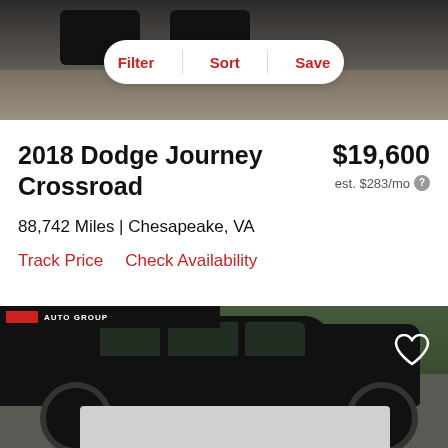[Figure (photo): Top partial view of a dark car on pavement, with Filter/Sort/Save toolbar overlay]
2018 Dodge Journey Crossroad
$19,600
est. $283/mo
88,742 Miles | Chesapeake, VA
Track Price    Check Availability
[Figure (photo): Black Dodge Journey Crossroad SUV parked, dealer banner at top left, heart/save icon top right, gray bar at bottom]